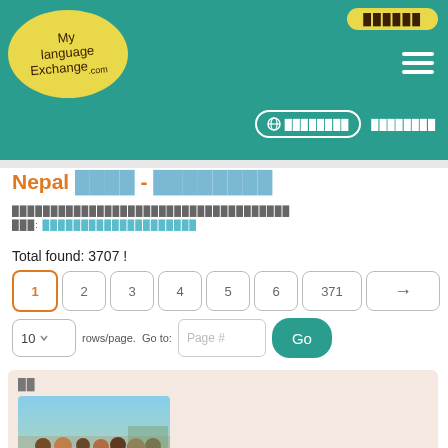[Figure (logo): MyLanguageExchange.com logo on teal header background with yellow oval logo, hamburger menu icon, login button, language selector and register buttons]
Nepal ████ - ████████
████████████████████████████████████
███: ████████████████████
Total found: 3707 !
Page buttons: 1 2 3 4 5 6 371 →
10 rows/page. Go to: Page # Go
[Figure (photo): User profile card with label ██ and a photo of a group of people gathered outdoors]